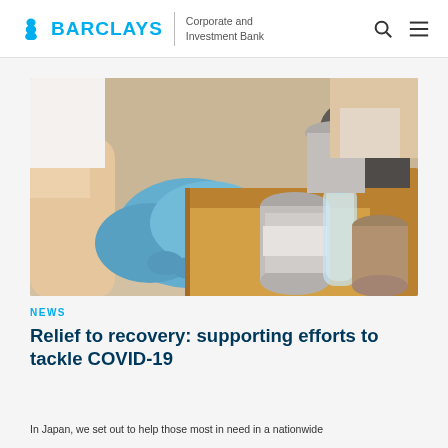BARCLAYS Corporate and Investment Bank
[Figure (photo): Volunteers wearing blue latex gloves packing food items including canned goods and water bottles into cardboard boxes]
NEWS
Relief to recovery: supporting efforts to tackle COVID-19
In Japan, we set out to help those most in need in a nationwide